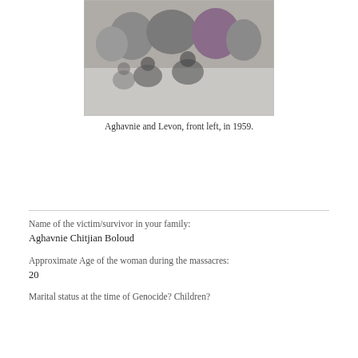[Figure (photo): Black and white photograph of a group of people, Aghavnie and Levon front left, in 1959.]
Aghavnie and Levon, front left, in 1959.
Name of the victim/survivor in your family:
Aghavnie Chitjian Boloud
Approximate Age of the woman during the massacres:
20
Marital status at the time of Genocide? Children?